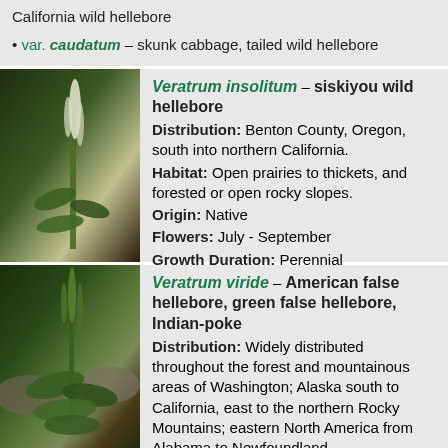var. caudatum – skunk cabbage, tailed wild hellebore
[Figure (photo): Photo of Veratrum insolitum plant with white flower spikes]
Veratrum insolitum – siskiyou wild hellebore
Distribution: Benton County, Oregon, south into northern California.
Habitat: Open prairies to thickets, and forested or open rocky slopes.
Origin: Native
Flowers: July - September
Growth Duration: Perennial
[Figure (photo): Photo of Veratrum viride plant with green flower spikes among rocks]
Veratrum viride – American false hellebore, green false hellebore, Indian-poke
Distribution: Widely distributed throughout the forest and mountainous areas of Washington; Alaska south to California, east to the northern Rocky Mountains; eastern North America from Alabama to Newfoundland